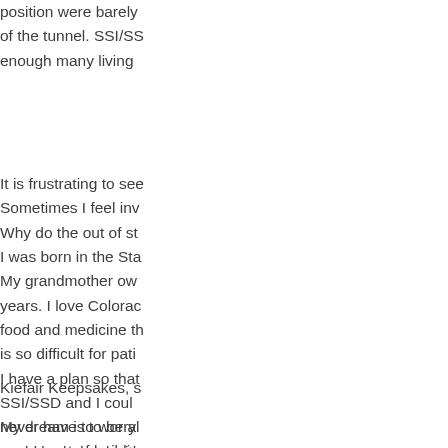position were barely of the tunnel. SSI/SS enough many living
It is frustrating to see Sometimes I feel inv Why do the out of st I was born in the Sta My grandmother ow years. I love Colorac food and medicine th is so difficult for pati I have a plan so that SSI/SSD and I coul never have to worry could be helped with begging to have my
Kiefair Keepsakes, s
My dream is to be al movement of buildin